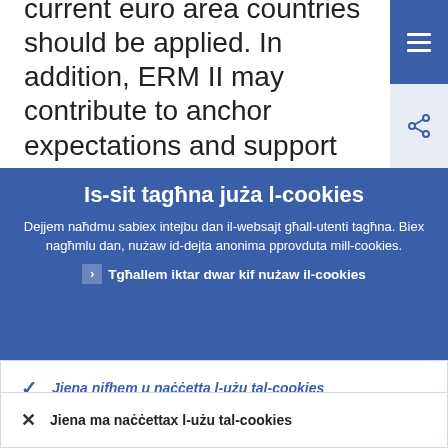current euro area countries should be applied. In addition, ERM II may contribute to anchor expectations and support the implementation of well-grounded macroeconomic and structural policies.
Is-sit tagħna juża l-cookies
Dejjem naħdmu sabiex intejbu dan il-websajt għall-utenti tagħna. Biex nagħmlu dan, nużaw id-dejta anonima pprovduta mill-cookies.
Tgħallem iktar dwar kif nużaw il-cookies
Jiena nifhem u naċċetta l-użu tal-cookies
Jiena ma naċċettax l-użu tal-cookies